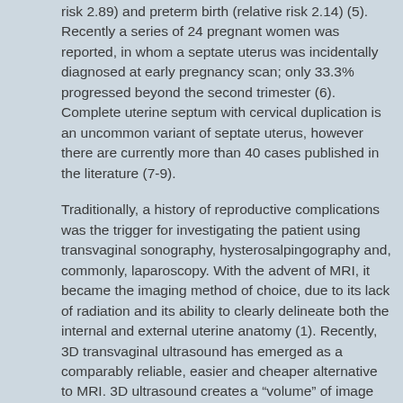risk 2.89) and preterm birth (relative risk 2.14) (5). Recently a series of 24 pregnant women was reported, in whom a septate uterus was incidentally diagnosed at early pregnancy scan; only 33.3% progressed beyond the second trimester (6). Complete uterine septum with cervical duplication is an uncommon variant of septate uterus, however there are currently more than 40 cases published in the literature (7-9).
Traditionally, a history of reproductive complications was the trigger for investigating the patient using transvaginal sonography, hysterosalpingography and, commonly, laparoscopy. With the advent of MRI, it became the imaging method of choice, due to its lack of radiation and its ability to clearly delineate both the internal and external uterine anatomy (1). Recently, 3D transvaginal ultrasound has emerged as a comparably reliable, easier and cheaper alternative to MRI. 3D ultrasound creates a "volume" of image data, in which the operator can navigate either at the time of examination or later in a stored volume (offline).